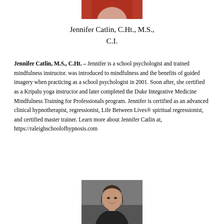[Figure (photo): Top portion of a photo, showing red/warm tones background, appears to be partial view of a person]
Jennifer Catlin, C.Ht., M.S., C.I.
Jennifer Catlin, M.S., C.Ht. – Jennifer is a school psychologist and trained mindfulness instructor. was introduced to mindfulness and the benefits of guided imagery when practicing as a school psychologist in 2001. Soon after, she certified as a Kripalu yoga instructor and later completed the Duke Integrative Medicine Mindfulness Training for Professionals program. Jennifer is certified as an advanced clinical hypnotherapist, regressionist, Life Between Lives® spiritual regressionist, and certified master trainer. Learn more about Jennifer Catlin at, https://raleighschoolofhypnosis.com
[Figure (photo): Headshot photo of a woman with dark shoulder-length hair, smiling, wearing a dark jacket, against a grey background]